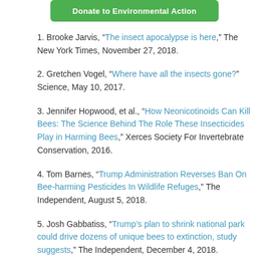[Figure (other): Green 'Donate to Environmental Action' button at top of page]
1. Brooke Jarvis, “The insect apocalypse is here,” The New York Times, November 27, 2018.
2. Gretchen Vogel, “Where have all the insects gone?” Science, May 10, 2017.
3. Jennifer Hopwood, et al., “How Neonicotinoids Can Kill Bees: The Science Behind The Role These Insecticides Play in Harming Bees,” Xerces Society For Invertebrate Conservation, 2016.
4. Tom Barnes, “Trump Administration Reverses Ban On Bee-harming Pesticides In Wildlife Refuges,” The Independent, August 5, 2018.
5. Josh Gabbatiss, “Trump’s plan to shrink national park could drive dozens of unique bees to extinction, study suggests,” The Independent, December 4, 2018.